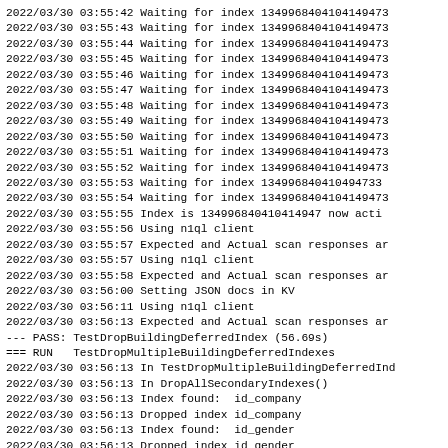2022/03/30 03:55:42 Waiting for index 134996840410414947...
2022/03/30 03:55:43 Waiting for index 134996840410414947...
2022/03/30 03:55:44 Waiting for index 134996840410414947...
2022/03/30 03:55:45 Waiting for index 134996840410414947...
2022/03/30 03:55:46 Waiting for index 134996840410414947...
2022/03/30 03:55:47 Waiting for index 134996840410414947...
2022/03/30 03:55:48 Waiting for index 134996840410414947...
2022/03/30 03:55:49 Waiting for index 134996840410414947...
2022/03/30 03:55:50 Waiting for index 134996840410414947...
2022/03/30 03:55:51 Waiting for index 134996840410414947...
2022/03/30 03:55:52 Waiting for index 134996840410414947...
2022/03/30 03:55:53 Waiting for index 134996840410414947...
2022/03/30 03:55:54 Waiting for index 134996840410414947...
2022/03/30 03:55:55 Index is 134996840410414947 now act...
2022/03/30 03:55:56 Using n1ql client
2022/03/30 03:55:57 Expected and Actual scan responses a...
2022/03/30 03:55:57 Using n1ql client
2022/03/30 03:55:58 Expected and Actual scan responses a...
2022/03/30 03:56:00 Setting JSON docs in KV
2022/03/30 03:56:11 Using n1ql client
2022/03/30 03:56:13 Expected and Actual scan responses a...
--- PASS: TestDropBuildingDeferredIndex (56.69s)
=== RUN   TestDropMultipleBuildingDeferredIndexes
2022/03/30 03:56:13 In TestDropMultipleBuildingDeferredIn...
2022/03/30 03:56:13 In DropAllSecondaryIndexes()
2022/03/30 03:56:13 Index found:  id_company
2022/03/30 03:56:13 Dropped index id_company
2022/03/30 03:56:13 Index found:  id_gender
2022/03/30 03:56:13 Dropped index id_gender
2022/03/30 03:56:21 Setting JSON docs in KV